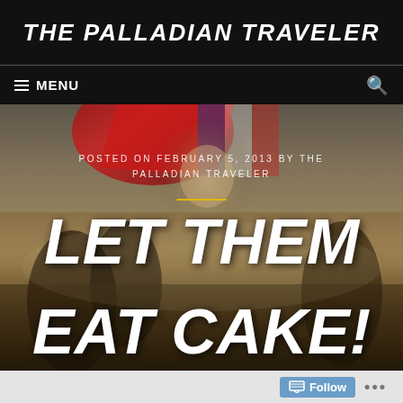THE PALLADIAN TRAVELER
MENU
[Figure (photo): Delacroix's Liberty Leading the People painting used as hero image background with overlaid text: POSTED ON FEBRUARY 5, 2013 BY THE PALLADIAN TRAVELER and large italic title LET THEM EAT CAKE!]
LET THEM EAT CAKE!
Follow ...